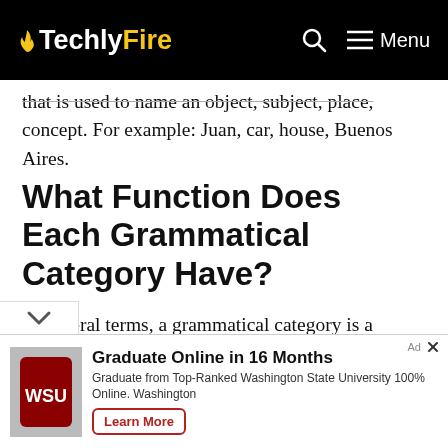TechlyFire [logo with flame] — Menu
that is used to name an object, subject, place, concept. For example: Juan, car, house, Buenos Aires.
What Function Does Each Grammatical Category Have?
In general terms, a grammatical category is a morphological variable that can take different values for a class of words to which it is applied, for example, the class of verbs present variations or conjugations according to their tense and...
[Figure (other): WSU advertisement banner: Graduate Online in 16 Months — Graduate from Top-Ranked Washington State University 100% Online. Washington — Learn More button]